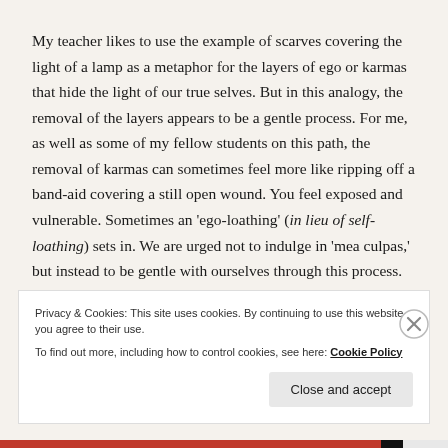My teacher likes to use the example of scarves covering the light of a lamp as a metaphor for the layers of ego or karmas that hide the light of our true selves. But in this analogy, the removal of the layers appears to be a gentle process. For me, as well as some of my fellow students on this path, the removal of karmas can sometimes feel more like ripping off a band-aid covering a still open wound. You feel exposed and vulnerable. Sometimes an 'ego-loathing' (in lieu of self-loathing) sets in. We are urged not to indulge in 'mea culpas,' but instead to be gentle with ourselves through this process. This will help us recognize the divinity within not only ourselves but in everyone else out there.
Privacy & Cookies: This site uses cookies. By continuing to use this website, you agree to their use.
To find out more, including how to control cookies, see here: Cookie Policy